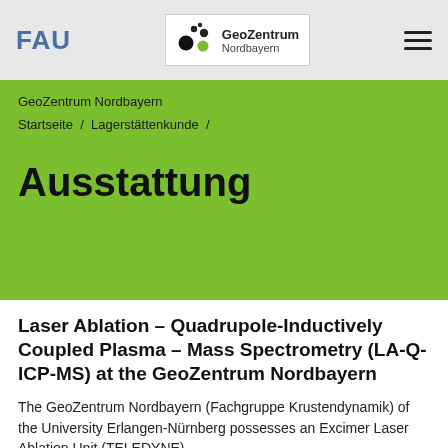FAU | GeoZentrum Nordbayern
GeoZentrum Nordbayern
Startseite / Lagerstättenkunde /
Ausstattung
Laser Ablation – Quadrupole-Inductively Coupled Plasma – Mass Spectrometry (LA-Q-ICP-MS) at the GeoZentrum Nordbayern
The GeoZentrum Nordbayern (Fachgruppe Krustendynamik) of the University Erlangen-Nürnberg possesses an Excimer Laser Ablation Unit (TELEDYNE)